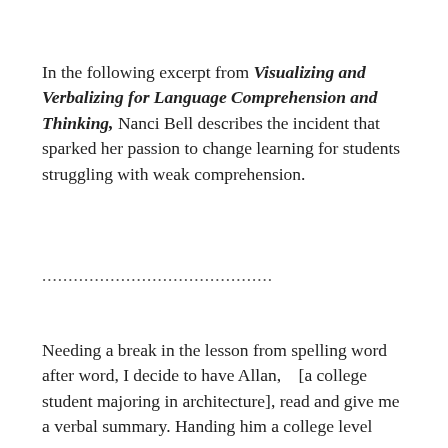In the following excerpt from Visualizing and Verbalizing for Language Comprehension and Thinking, Nanci Bell describes the incident that sparked her passion to change learning for students struggling with weak comprehension.
............................................
Needing a break in the lesson from spelling word after word, I decide to have Allan,   [a college student majoring in architecture], read and give me a verbal summary. Handing him a college level